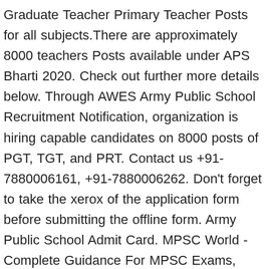Graduate Teacher Primary Teacher Posts for all subjects.There are approximately 8000 teachers Posts available under APS Bharti 2020. Check out further more details below. Through AWES Army Public School Recruitment Notification, organization is hiring capable candidates on 8000 posts of PGT, TGT, and PRT. Contact us +91-7880006161, +91-7880006262. Don't forget to take the xerox of the application form before submitting the offline form. Army Public School Admit Card. MPSC World - Complete Guidance For MPSC Exams, Current Affairs, Rajyaseva, PSI, STI Exams, Job Alerts 2021. Filled forms should be submitted along with a demand draft of Rs. The applicants can register on-line for the advertised vacancy. Jobs in Delhi, Mumbai, Bangalore, Kolkata, Hyderabad, Chennai, Pune with Diploma in Career